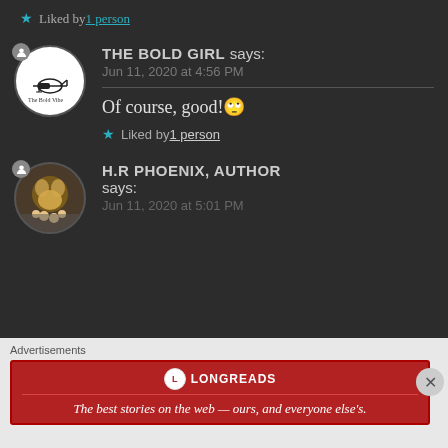★ Liked by 1 person
THE BOLD GIRL says:
Jun 11, 2020 at 4:56 PM
Of course, good!🙄
★ Liked by 1 person
H.R PHOENIX, AUTHOR says:
Jun 11, 2020 at 5:01 PM
Advertisements
[Figure (logo): Longreads advertisement banner: The best stories on the web — ours, and everyone else's.]